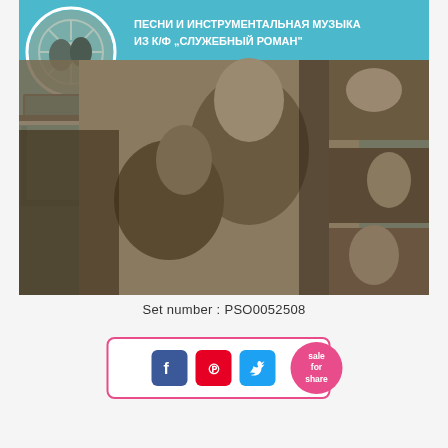[Figure (photo): Soviet movie soundtrack album cover for 'Sluzhebny Roman' (Office Romance). Teal/turquoise background with film reel graphic top-left, Russian text top-center reading 'PESNI I INSTRUMENTAL'NAYA MUZYKA IZ K/F SLUZHEBNY ROMAN', and a sepia-toned black and white photo collage showing scenes from the film with male and female actors.]
Set number : PSO0052508
[Figure (infographic): Social sharing widget with Facebook, Pinterest, and Twitter icon buttons inside a pink-bordered rounded rectangle, plus a pink circular 'sale for share' badge on the right.]